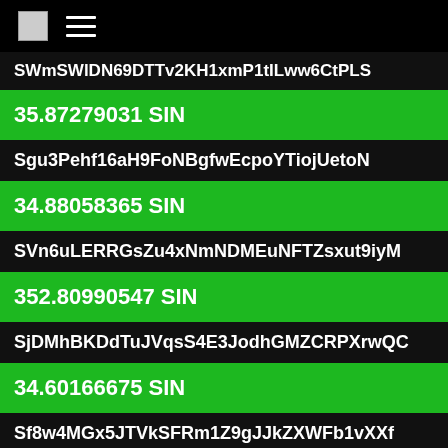[logo] ≡
SWmSWlDN69DTTv2KH1xmP1tILww6CtPLS
35.87279031 SIN
Sgu3Pehf16aH9FoNBgfwEcpoYTiojUetoN
34.88058365 SIN
SVn6uLERRGsZu4xNmNDMEuNFTZsxut9iyM
352.80990547 SIN
SjDMhBKDdTuJVqsS4E3JodhGMZCRPXrwQC
34.60166675 SIN
Sf8w4MGx5JTVkSFRm1Z9gJJkZXWFb1vXXf
33.69840048 SIN